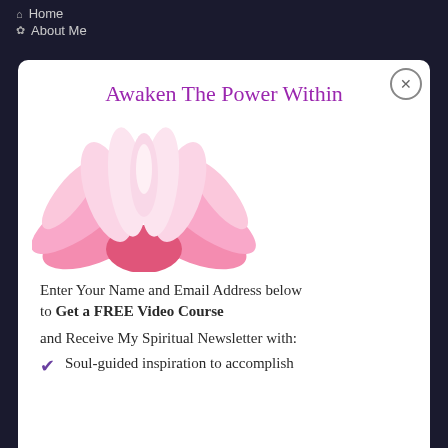Home
About Me
Awaken The Power Within
[Figure (illustration): Pink lotus flower illustration on white background]
Enter Your Name and Email Address below to Get a FREE Video Course
and Receive My Spiritual Newsletter with:
Soul-guided inspiration to accomplish